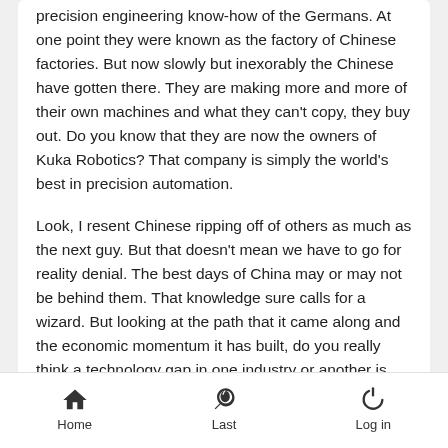precision engineering know-how of the Germans. At one point they were known as the factory of Chinese factories. But now slowly but inexorably the Chinese have gotten there. They are making more and more of their own machines and what they can't copy, they buy out. Do you know that they are now the owners of Kuka Robotics? That company is simply the world's best in precision automation.

Look, I resent Chinese ripping off of others as much as the next guy. But that doesn't mean we have to go for reality denial. The best days of China may or may not be behind them. That knowledge sure calls for a wizard. But looking at the path that it came along and the economic momentum it has built, do you really think a technology gap in one industry or another is going to be a hurdle for China for long?
[Figure (other): Like and Dislike buttons with a scroll-to-top button (dark circle with up chevron)]
[Figure (other): Bottom navigation bar with Home, Last, and Log in icons and labels]